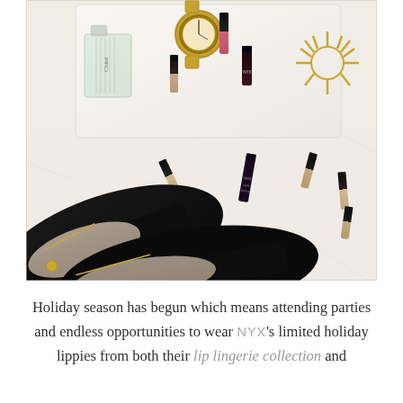[Figure (photo): Flat lay photo showing black pointed-toe suede flats with gold hardware, a white tray with a Chloé perfume bottle, a gold watch, a gold sunburst necklace, and several lip gloss/lipstick tubes including NYX and Stoodappi brands, all on a white faux fur rug background.]
Holiday season has begun which means attending parties and endless opportunities to wear NYX's limited holiday lippies from both their lip lingerie collection and